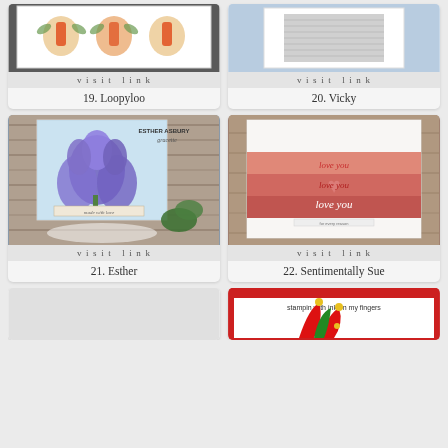[Figure (photo): Card with carrots and floral wreath design - item 19, Loopyloo]
visit link
19. Loopyloo
[Figure (photo): Card with embossed/stamped pattern on blue background - item 20, Vicky]
visit link
20. Vicky
[Figure (photo): Card with purple iris flower and 'made with love' sentiment, by Esther Asbury - item 21, Esther]
visit link
21. Esther
[Figure (photo): Card with pink/coral stripes and 'love you love you love you' text - item 22, Sentimentally Sue]
visit link
22. Sentimentally Sue
[Figure (photo): Partial card visible at bottom - item 23, partially cropped]
[Figure (photo): Card with jester hat and stampin with ink on my fingers - item 24, partially cropped]